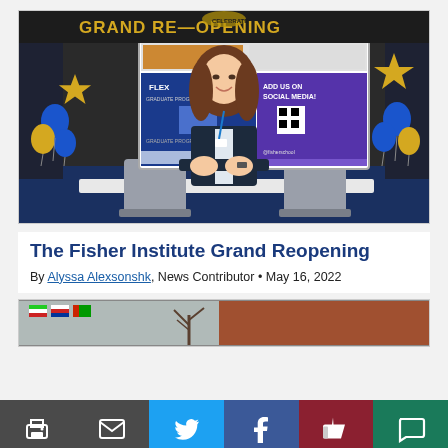[Figure (photo): A woman in a dark blazer smiling and leaning on chairs in front of a screen showing 'ADD US ON SOCIAL MEDIA!' and 'FLEX PROGRAM'. Blue and gold balloons decorate the background. A banner reading 'GRAND RE-OPENING' is above.]
The Fisher Institute Grand Reopening
By Alyssa Alexsonshk, News Contributor • May 16, 2022
[Figure (photo): Partial view of a building exterior with international flags and bare trees visible through a window.]
Print | Email | Twitter | Facebook | Like | Comment